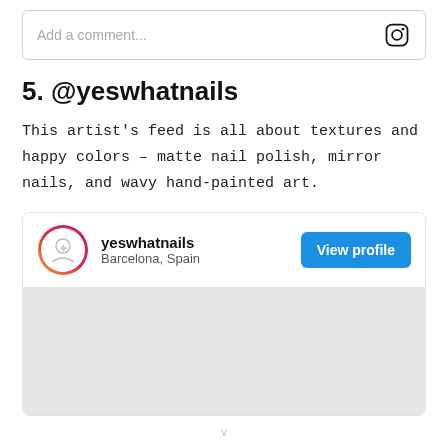[Figure (screenshot): Instagram comment input box with placeholder text 'Add a comment...' and Instagram logo icon on the right]
5. @yeswhatnails
This artist's feed is all about textures and happy colors – matte nail polish, mirror nails, and wavy hand-painted art.
[Figure (screenshot): Instagram profile card for yeswhatnails, located in Barcelona, Spain, with a View profile button and a gray image content area below]